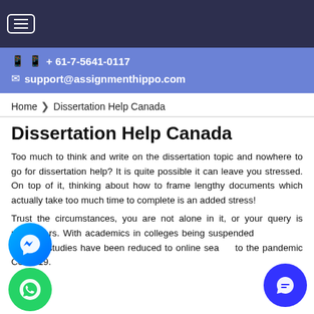+ 61-7-5641-0117
support@assignmenthippo.com
Home > Dissertation Help Canada
Dissertation Help Canada
Too much to think and write on the dissertation topic and nowhere to go for dissertation help? It is quite possible it can leave you stressed. On top of it, thinking about how to frame lengthy documents which actually take too much time to complete is an added stress!
Trust the circumstances, you are not alone in it, or your query is not ours. With academics in colleges being suspended for months, studies have been reduced to online sea... to the pandemic Covid-19.